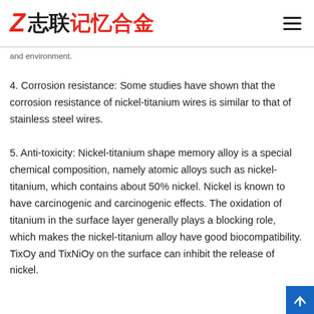志联记忆合金 (logo)
and environment.
4. Corrosion resistance: Some studies have shown that the corrosion resistance of nickel-titanium wires is similar to that of stainless steel wires.
5. Anti-toxicity: Nickel-titanium shape memory alloy is a special chemical composition, namely atomic alloys such as nickel-titanium, which contains about 50% nickel. Nickel is known to have carcinogenic and carcinogenic effects. The oxidation of titanium in the surface layer generally plays a blocking role, which makes the nickel-titanium alloy have good biocompatibility. TixOy and TixNiOy on the surface can inhibit the release of nickel.